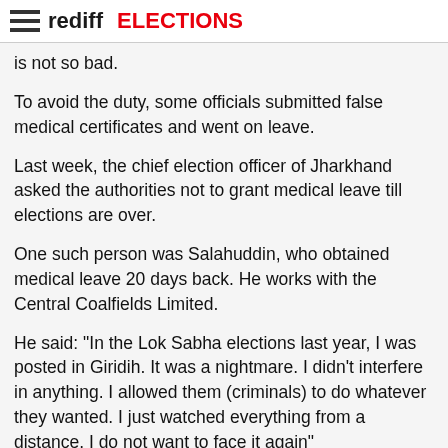rediff ELECTIONS
is not so bad.
To avoid the duty, some officials submitted false medical certificates and went on leave.
Last week, the chief election officer of Jharkhand asked the authorities not to grant medical leave till elections are over.
One such person was Salahuddin, who obtained medical leave 20 days back. He works with the Central Coalfields Limited.
He said: "In the Lok Sabha elections last year, I was posted in Giridih. It was a nightmare. I didn't interfere in anything. I allowed them (criminals) to do whatever they wanted. I just watched everything from a distance. I do not want to face it again"
"Anything can happen. The Naxals can do anything to show their terror. I don't want to be a victim."
Family members of polling officials are praying for their safe return. Sandhya Chaurasia said: "I will be happy